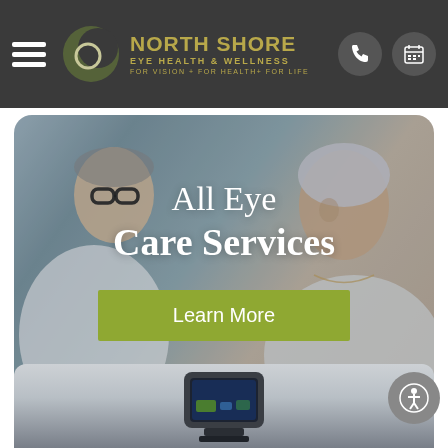[Figure (screenshot): North Shore Eye Health & Wellness website header with hamburger menu, logo with crescent moon icon, gold text 'NORTH SHORE EYE HEALTH & WELLNESS FOR VISION + FOR HEALTH + FOR LIFE', and two circular icon buttons (phone and calendar) on dark gray background.]
[Figure (photo): Hero banner image showing a doctor in glasses examining an elderly female patient's eye. Overlaid text reads 'All Eye Care Services' with a green 'Learn More' button.]
All Eye Care Services
Learn More
[Figure (photo): Partial view of a medical eye care device/equipment at the bottom of the page on a light gray background.]